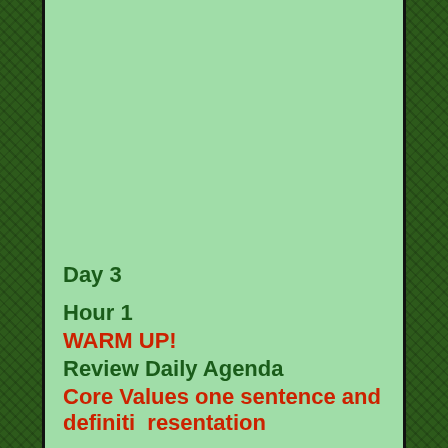Day 3
Hour 1
WARM UP!
Review Daily Agenda
Core Values one sentence and definition presentation